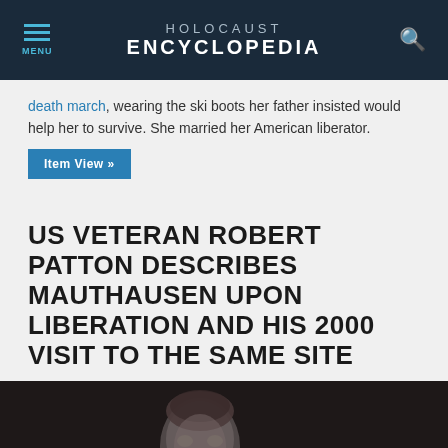HOLOCAUST ENCYCLOPEDIA
death march, wearing the ski boots her father insisted would help her to survive. She married her American liberator.
Item View »
US VETERAN ROBERT PATTON DESCRIBES MAUTHAUSEN UPON LIBERATION AND HIS 2000 VISIT TO THE SAME SITE
[Figure (photo): Portrait photo of US veteran Robert Patton, elderly man with glasses, dark background]